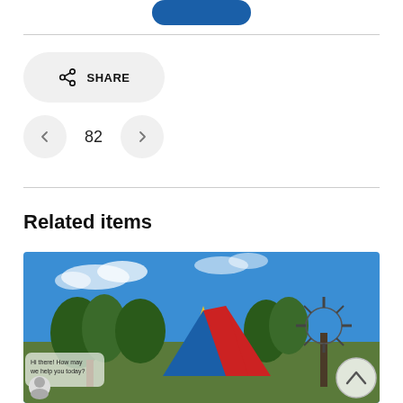[Figure (other): Blue rounded button at top center]
[Figure (other): Share button with share icon and SHARE label on light gray rounded rectangle background]
[Figure (other): Navigation arrows with left arrow button, number 82, and right arrow button]
Related items
[Figure (photo): Outdoor scene with colorful tent/canopy in red, yellow and blue colors, trees, windmill in background, blue sky with clouds, children visible]